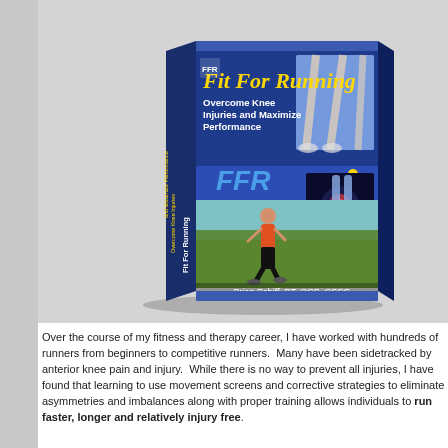[Figure (photo): 3D book cover of 'Fit For Running' by Brian Schiff, PT, OCS, CSCS. Cover shows runners' legs, a knee anatomy image, and a female runner. Title in yellow script, subtitle 'Overcome Knee Injuries and Maximize Performance', FFR logo in blue.]
Over the course of my fitness and therapy career, I have worked with hundreds of runners from beginners to competitive runners. Many have been sidetracked by anterior knee pain and injury. While there is no way to prevent all injuries, I have found that learning to use movement screens and corrective strategies to eliminate asymmetries and imbalances along with proper training allows individuals to run faster, longer and relatively injury free.